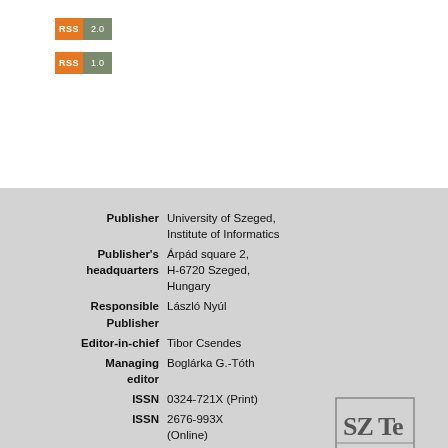[Figure (other): RSS 2.0 badge - orange RSS label with gray version number]
[Figure (other): RSS 1.0 badge - orange RSS label with gray version number]
| Publisher | University of Szeged, Institute of Informatics |
| Publisher's headquarters | Árpád square 2, H-6720 Szeged, Hungary |
| Responsible Publisher | László Nyúl |
| Editor-in-chief | Tibor Csendes |
| Managing editor | Boglárka G.-Tóth |
| ISSN | 0324-721X (Print) |
| ISSN | 2676-993X (Online) |
[Figure (logo): SZTE OJS logo - university journal system logo with decorative letters]